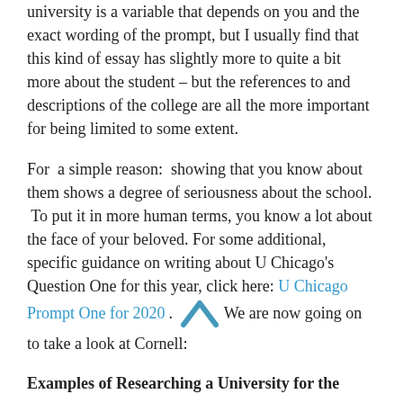university is a variable that depends on you and the exact wording of the prompt, but I usually find that this kind of essay has slightly more to quite a bit more about the student – but the references to and descriptions of the college are all the more important for being limited to some extent.
For  a simple reason:  showing that you know about them shows a degree of seriousness about the school.  To put it in more human terms, you know a lot about the face of your beloved. For some additional, specific guidance on writing about U Chicago's Question One for this year, click here: U Chicago Prompt One for 2020. We are now going on to take a look at Cornell:
Examples of Researching a University for the